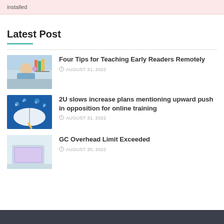installed
Latest Post
Four Tips for Teaching Early Readers Remotely — AUGUST 31, 2022
2U slows increase plans mentioning upward push in opposition for online training — AUGUST 31, 2022
GC Overhead Limit Exceeded — AUGUST 30, 2022